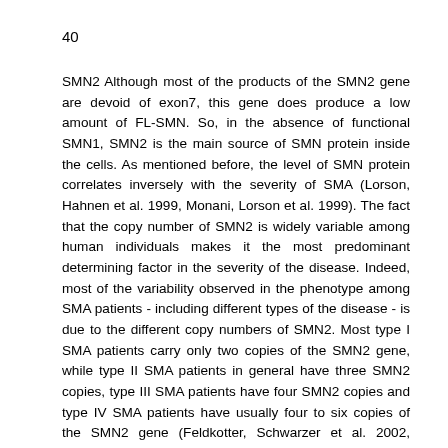40
SMN2 Although most of the products of the SMN2 gene are devoid of exon7, this gene does produce a low amount of FL-SMN. So, in the absence of functional SMN1, SMN2 is the main source of SMN protein inside the cells. As mentioned before, the level of SMN protein correlates inversely with the severity of SMA (Lorson, Hahnen et al. 1999, Monani, Lorson et al. 1999). The fact that the copy number of SMN2 is widely variable among human individuals makes it the most predominant determining factor in the severity of the disease. Indeed, most of the variability observed in the phenotype among SMA patients - including different types of the disease - is due to the different copy numbers of SMN2. Most type I SMA patients carry only two copies of the SMN2 gene, while type II SMA patients in general have three SMN2 copies, type III SMA patients have four SMN2 copies and type IV SMA patients have usually four to six copies of the SMN2 gene (Feldkotter, Schwarzer et al. 2002, Mailman, Heinz et al. 2002, Wirth, Brichta et al. 2006). Animal studies also confirmed these findings; it has been shown that Smn knockout mice, which harbor only one copy of SMN2 do not survive after birth, while 2 copies of SMN2 extend the survival of these animals up to 8